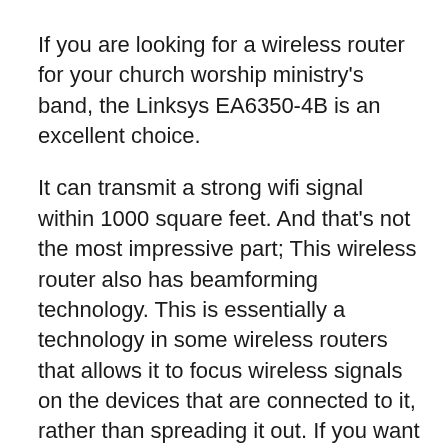If you are looking for a wireless router for your church worship ministry's band, the Linksys EA6350-4B is an excellent choice.
It can transmit a strong wifi signal within 1000 square feet. And that's not the most impressive part; This wireless router also has beamforming technology. This is essentially a technology in some wireless routers that allows it to focus wireless signals on the devices that are connected to it, rather than spreading it out. If you want to learn more about this technology, feel free to check this article out on NetworkWorld.